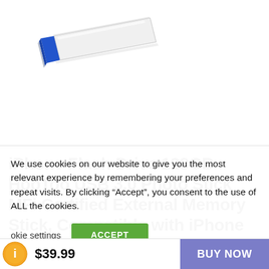Description   Reviews (0)
[Figure (photo): White and blue USB flash drive / photo stick product image on white background]
iPhone Flash Drive 128GB HooToo USB 3.0 Photo Stick MFi Certified External Memory Stick, Compatible with iPhone iPad, Touch ID
We use cookies on our website to give you the most relevant experience by remembering your preferences and repeat visits. By clicking “Accept”, you consent to the use of ALL the cookies.
Cookie settings   ACCEPT
$39.99   BUY NOW